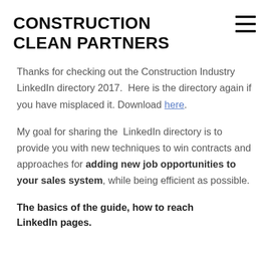CONSTRUCTION CLEAN PARTNERS
Thanks for checking out the Construction Industry LinkedIn directory 2017.  Here is the directory again if you have misplaced it. Download here.
My goal for sharing the  LinkedIn directory is to provide you with new techniques to win contracts and approaches for adding new job opportunities to your sales system, while being efficient as possible.
The basics of the guide, how to reach LinkedIn pages.